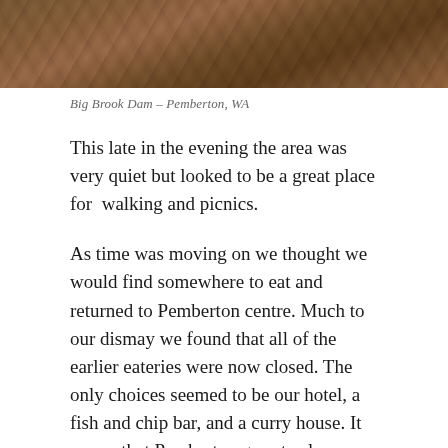[Figure (photo): Photograph of Big Brook Dam, Pemberton WA — close-up of textured reddish-brown surface, likely water or rock, cropped at top of page]
Big Brook Dam – Pemberton, WA
This late in the evening the area was very quiet but looked to be a great place for  walking and picnics.
As time was moving on we thought we would find somewhere to eat and returned to Pemberton centre. Much to our dismay we found that all of the earlier eateries were now closed. The only choices seemed to be our hotel, a fish and chip bar, and a curry house. It seems that Pemberton goes to sleep between 16:30 and 18:00.